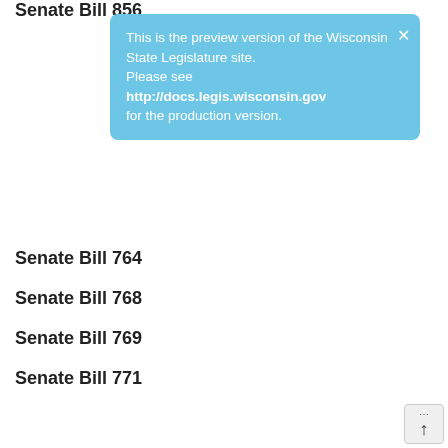Senate Bill 856
This is the preview version of the Wisconsin State Legislature site. Please see http://docs.legis.wisconsin.gov for the production version.
Senate Bill 764
Senate Bill 768
Senate Bill 769
Senate Bill 771
Senate Bill 819
Assembly Bill 26
Assembly Bill 30
Assembly Bill 47
Assembly Bill 49
Assembly Bill 75
Assembly Bill 86
Assembly Bill 222